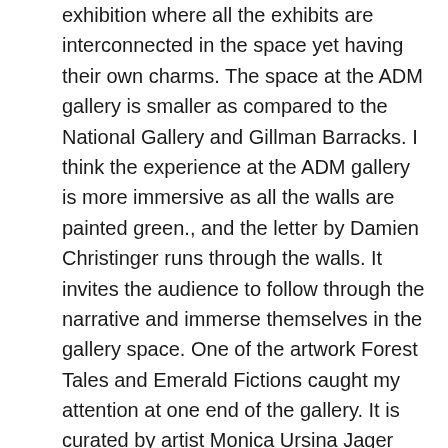exhibition where all the exhibits are interconnected in the space yet having their own charms. The space at the ADM gallery is smaller as compared to the National Gallery and Gillman Barracks. I think the experience at the ADM gallery is more immersive as all the walls are painted green., and the letter by Damien Christinger runs through the walls. It invites the audience to follow through the narrative and immerse themselves in the gallery space. One of the artwork Forest Tales and Emerald Fictions caught my attention at one end of the gallery. It is curated by artist Monica Ursina Jager (Switzerland and UK) whose work explores the relationship between the natural environment and the manmade infrastructures. Forest Tales and Emerald Fictions is a looping 3 channel video installation. The videos walk the audience through the dense skyscrapers, the forest, the mix of both and repeat. The narration is a Singaporean woman talking about her